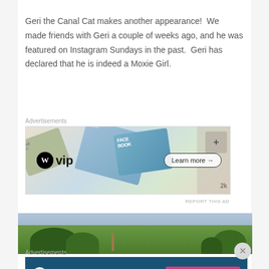Geri the Canal Cat makes another appearance!  We  made friends with Geri a couple of weeks ago, and he was featured on Instagram Sundays in the past.  Geri has declared that he is indeed a Moxie Girl.
Advertisements
[Figure (screenshot): WordPress VIP advertisement banner with 'Learn more' button and colorful card/social media imagery in background]
[Figure (photo): Landscape photo showing green fields, trees, and overcast sky]
Advertisements
[Figure (screenshot): WordPress.com advertisement banner with dark blue background, WordPress logo and 'Build Your Website' pink button]